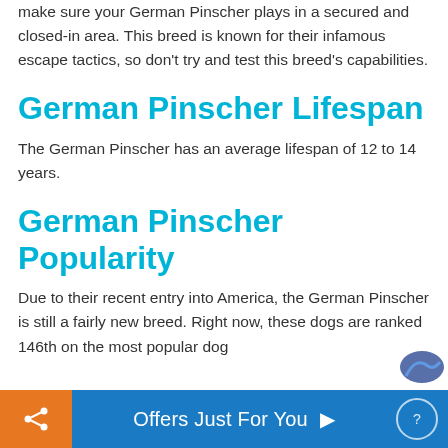make sure your German Pinscher plays in a secured and closed-in area. This breed is known for their infamous escape tactics, so don't try and test this breed's capabilities.
German Pinscher Lifespan
The German Pinscher has an average lifespan of 12 to 14 years.
German Pinscher Popularity
Due to their recent entry into America, the German Pinscher is still a fairly new breed. Right now, these dogs are ranked 146th on the most popular dog
Offers Just For You ▶